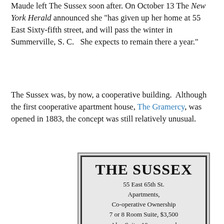Maude left The Sussex soon after. On October 13 The New York Herald announced she "has given up her home at 55 East Sixty-fifth street, and will pass the winter in Summerville, S. C.  She expects to remain there a year."
The Sussex was, by now, a cooperative building. Although the first cooperative apartment house, The Gramercy, was opened in 1883, the concept was still relatively unusual.
[Figure (other): Newspaper advertisement for The Sussex, 55 East 65th St. Apartments, Co-operative Ownership. 7 or 8 Room Suite, $3,500. Also Suite, 10 rooms and 3 baths with roof garden.]